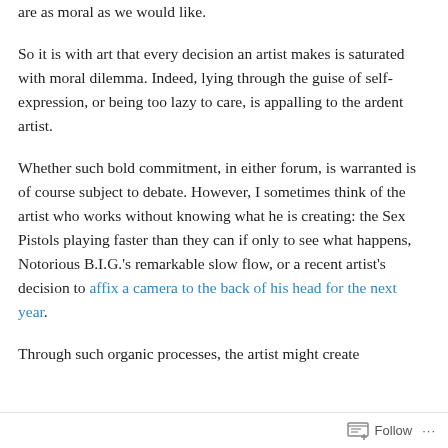are as moral as we would like.
So it is with art that every decision an artist makes is saturated with moral dilemma. Indeed, lying through the guise of self-expression, or being too lazy to care, is appalling to the ardent artist.
Whether such bold commitment, in either forum, is warranted is of course subject to debate. However, I sometimes think of the artist who works without knowing what he is creating: the Sex Pistols playing faster than they can if only to see what happens, Notorious B.I.G.'s remarkable slow flow, or a recent artist's decision to affix a camera to the back of his head for the next year.
Through such organic processes, the artist might create
Follow ...